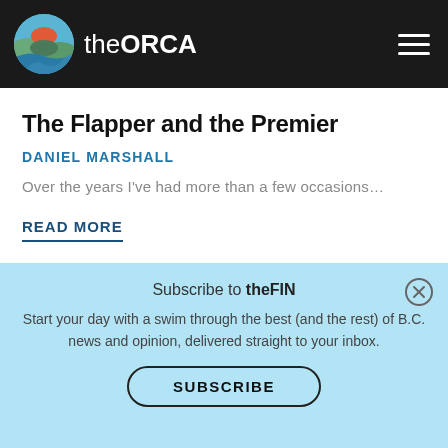the ORCA
The Flapper and the Premier
DANIEL MARSHALL
Over the years I've had more than a few occasions...
READ MORE
Subscribe to theFIN
Start your day with a swim through the best (and the rest) of B.C. news and opinion, delivered straight to your inbox.
SUBSCRIBE